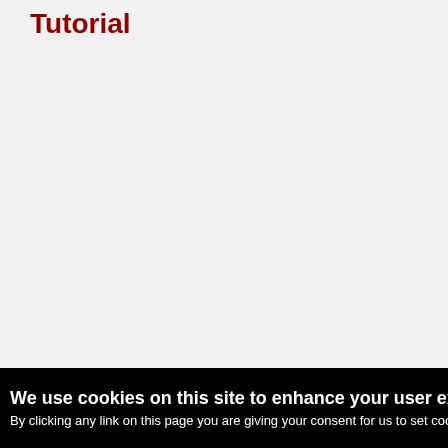Tutorial
We use cookies on this site to enhance your user ex
By clicking any link on this page you are giving your consent for us to set cook